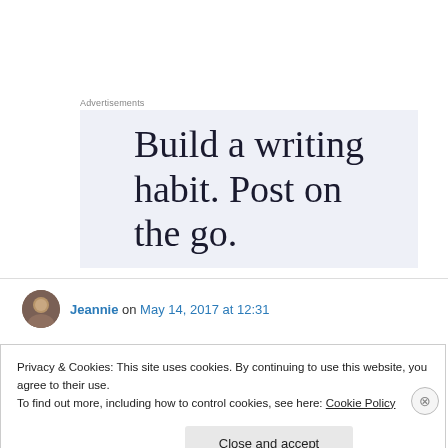Advertisements
[Figure (screenshot): Advertisement banner with light blue-gray background showing large serif text: 'Build a writing habit. Post on the go.']
Jeannie on May 14, 2017 at 12:31
Privacy & Cookies: This site uses cookies. By continuing to use this website, you agree to their use.
To find out more, including how to control cookies, see here: Cookie Policy
Close and accept